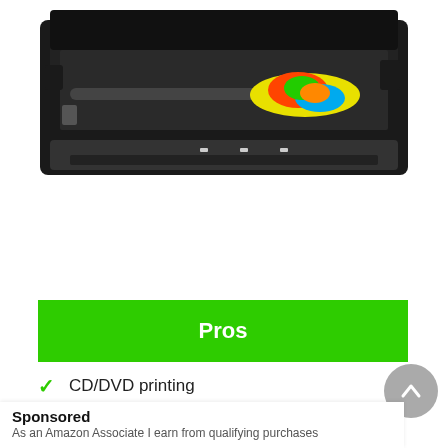[Figure (photo): A black inkjet printer with its lid open, showing colorful ink cartridges inside, viewed from a slightly elevated front angle against a white background.]
Pros
CD/DVD printing
Wireless printing with Wi-Fi
Sponsored
As an Amazon Associate I earn from qualifying purchases